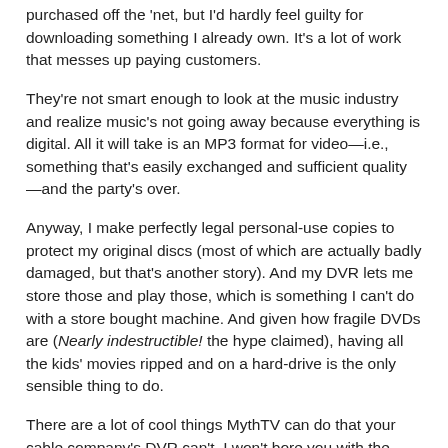purchased off the 'net, but I'd hardly feel guilty for downloading something I already own. It's a lot of work that messes up paying customers.
They're not smart enough to look at the music industry and realize music's not going away because everything is digital. All it will take is an MP3 format for video—i.e., something that's easily exchanged and sufficient quality—and the party's over.
Anyway, I make perfectly legal personal-use copies to protect my original discs (most of which are actually badly damaged, but that's another story). And my DVR lets me store those and play those, which is something I can't do with a store bought machine. And given how fragile DVDs are (Nearly indestructible! the hype claimed), having all the kids' movies ripped and on a hard-drive is the only sensible thing to do.
There are a lot of cool things MythTV can do that your cable company's DVR can't. I won't bore you with the details now (I like to spread my boring stuff out), but one of the coolest